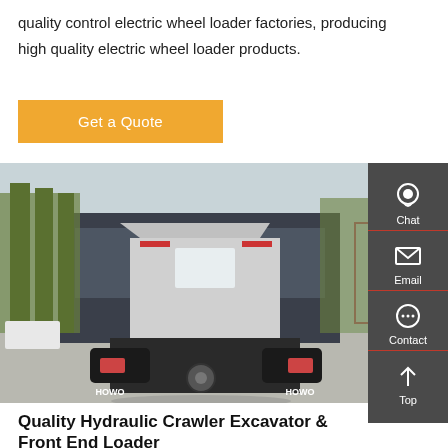quality control electric wheel loader factories, producing high quality electric wheel loader products.
Get a Quote
[Figure (photo): Rear view of a HOWO heavy-duty truck/tractor unit parked in front of a large industrial building, with trees in the background. The truck displays HOWO branding on both mudguards.]
Quality Hydraulic Crawler Excavator & Front End Loader